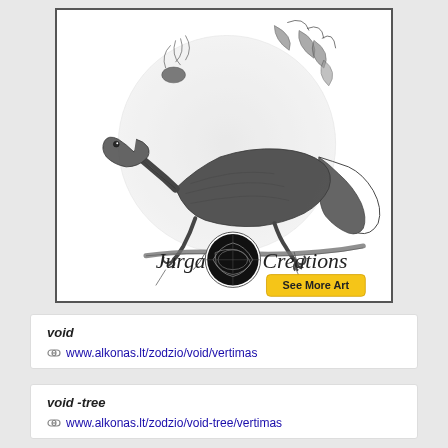[Figure (illustration): Black and white pencil illustration of a lizard (skink) perched on a branch with plants and a circular backdrop. Shows 'Jurga Creations' branding with a yarn ball logo and a yellow 'See More Art' button.]
void
www.alkonas.lt/zodzio/void/vertimas
void -tree
www.alkonas.lt/zodzio/void-tree/vertimas